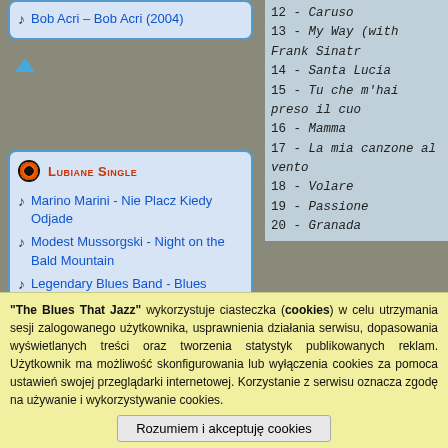Bob Acri – Bob Acri (2004)
Lubiane Single
Marino Marini - Nie Placz Kiedy Odjade
Modest Mussorgski - Night on the Bald Mountain
Legendary Blues Band - Blues Today
Celine Dion - When I Need You
Metallica - One
Melvin Taylor - I'll Play The Blues For You
12 - Caruso
13 - My Way (with Frank Sinatr
14 - Santa Lucia
15 - Tu che m'hai preso il cuo
16 - Mamma
17 - La mia canzone al vento
18 - Volare
19 - Passione
20 - Granada
That explains why this putative survey of blockbusters as the Paris 1998 concert a also explains the dominance of popular c was at the height of his renown and was the two discs is devoted to crossover ma "My Way" with Frank Sinatra. From a pe somewhat overstates the importance of p and well, but he never focused on it the time frame of this album serves the liste omitted, and the operatic selections inclu overview of the evolution of Pavarotti's v
"The Blues That Jazz" wykorzystuje ciasteczka (cookies) w celu utrzymania sesji zalogowanego użytkownika, usprawnienia działania serwisu, dopasowania wyświetlanych treści oraz tworzenia statystyk publikowanych reklam. Użytkownik ma możliwość skonfigurowania lub wyłączenia cookies za pomoca ustawień swojej przeglądarki internetowej. Korzystanie z serwisu oznacza zgodę na używanie i wykorzystywanie cookies.
Anne Murray - Let It Be Me
Holmes Brothers - I Want
Rozumiem i akceptuję cookies